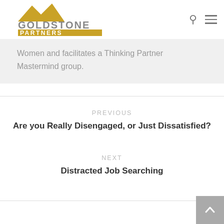[Figure (logo): Goldstone Partners logo with mountain silhouette above text 'GOLDSTONE PARTNERS']
Women and facilitates a Thinking Partner Mastermind group.
PREVIOUS
Are you Really Disengaged, or Just Dissatisfied?
NEXT
Distracted Job Searching